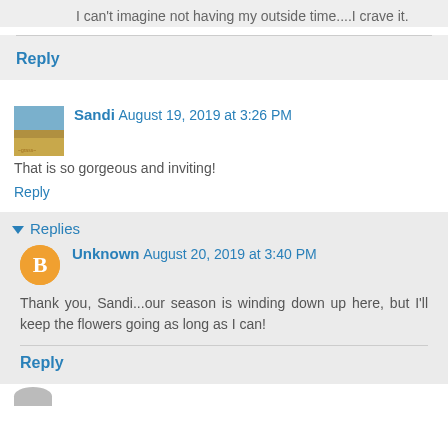I can't imagine not having my outside time....I crave it.
Reply
Sandi August 19, 2019 at 3:26 PM
That is so gorgeous and inviting!
Reply
Replies
Unknown August 20, 2019 at 3:40 PM
Thank you, Sandi...our season is winding down up here, but I'll keep the flowers going as long as I can!
Reply